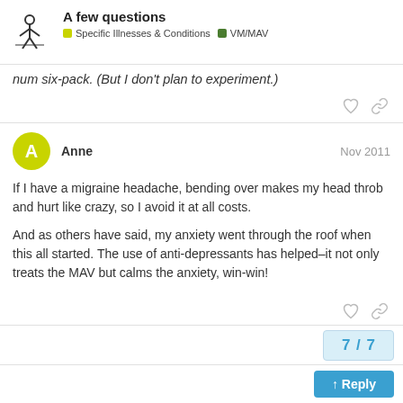A few questions | Specific Illnesses & Conditions | VM/MAV
num six-pack. (But I don't plan to experiment.)
Anne  Nov 2011

If I have a migraine headache, bending over makes my head throb and hurt like crazy, so I avoid it at all costs.

And as others have said, my anxiety went through the roof when this all started. The use of anti-depressants has helped–it not only treats the MAV but calms the anxiety, win-win!
7 / 7